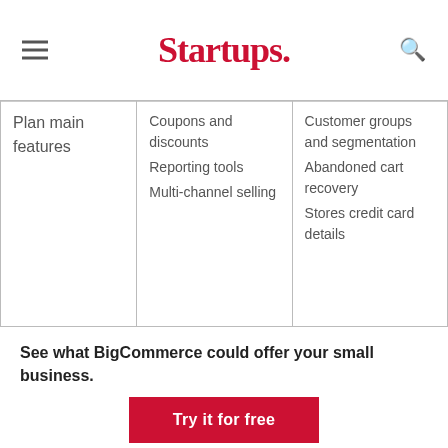Startups.
| Plan main features |  |  |
| --- | --- | --- |
| Plan main features | Coupons and discounts
Reporting tools
Multi-channel selling | Customer groups and segmentation
Abandoned cart recovery
Stores credit card details |
See what BigCommerce could offer your small business.
Try it for free